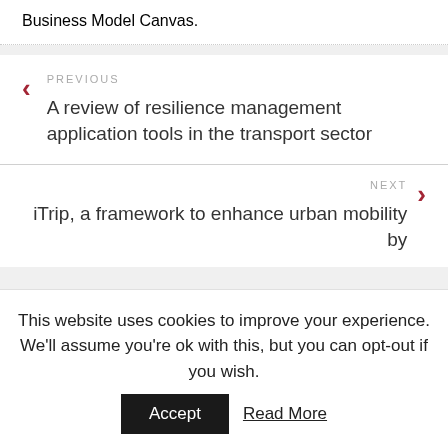Business Model Canvas.
PREVIOUS
A review of resilience management application tools in the transport sector
NEXT
iTrip, a framework to enhance urban mobility by
This website uses cookies to improve your experience. We'll assume you're ok with this, but you can opt-out if you wish. Accept  Read More